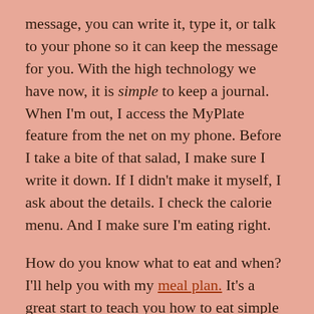message, you can write it, type it, or talk to your phone so it can keep the message for you. With the high technology we have now, it is simple to keep a journal. When I'm out, I access the MyPlate feature from the net on my phone. Before I take a bite of that salad, I make sure I write it down. If I didn't make it myself, I ask about the details. I check the calorie menu. And I make sure I'm eating right.
How do you know what to eat and when? I'll help you with my meal plan. It's a great start to teach you how to eat simple recipes, and after a week you'll get the hang of it and will be able to do it for the rest of your life. Soon you won't have to use measuring cups and spoons because you will know